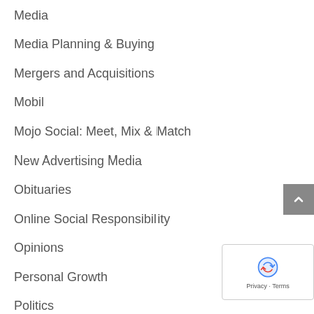Media
Media Planning & Buying
Mergers and Acquisitions
Mobil
Mojo Social: Meet, Mix & Match
New Advertising Media
Obituaries
Online Social Responsibility
Opinions
Personal Growth
Politics
Politics & Business
Press Releases & News